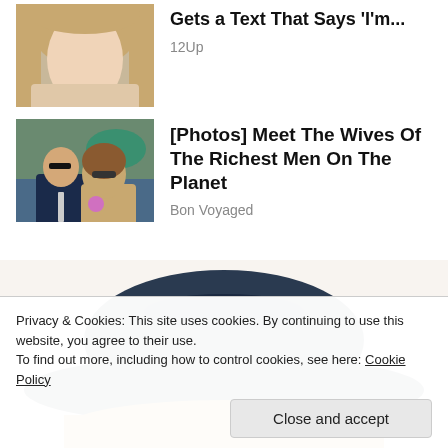[Figure (photo): Thumbnail of a young blonde woman]
Gets a Text That Says 'I'm...
12Up
[Figure (photo): Thumbnail of a couple (man in suit and woman with sunglasses) at an event]
[Photos] Meet The Wives Of The Richest Men On The Planet
Bon Voyaged
[Figure (photo): Partial photo of a person wearing a dark navy cowboy hat with blonde hair visible below]
Privacy & Cookies: This site uses cookies. By continuing to use this website, you agree to their use.
To find out more, including how to control cookies, see here: Cookie Policy
Close and accept